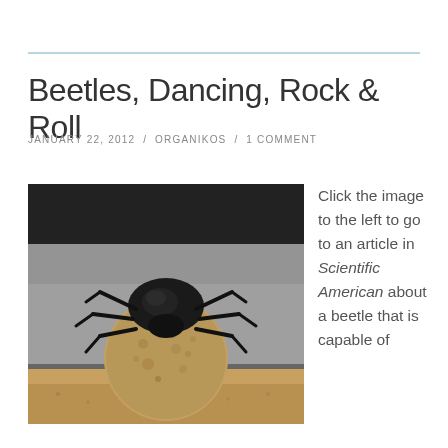Beetles, Dancing, Rock & Roll
JANUARY 22, 2012  /  ORGANIKOS  /  1 COMMENT
[Figure (photo): Close-up photograph of a dung beetle perched on top of a round ball of dung/sand. The beetle is black with visible legs spread wide, gripping the ball. Background is blurred with dark top and sandy/beige bottom.]
Click the image to the left to go to an article in Scientific American about a beetle that is capable of